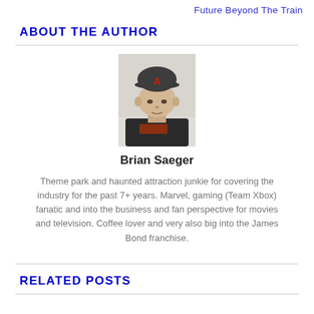Future Beyond The Train
ABOUT THE AUTHOR
[Figure (photo): Headshot photo of Brian Saeger wearing a dark cap with letter A and a dark shirt, white/light background]
Brian Saeger
Theme park and haunted attraction junkie for covering the industry for the past 7+ years. Marvel, gaming (Team Xbox) fanatic and into the business and fan perspective for movies and television. Coffee lover and very also big into the James Bond franchise.
RELATED POSTS